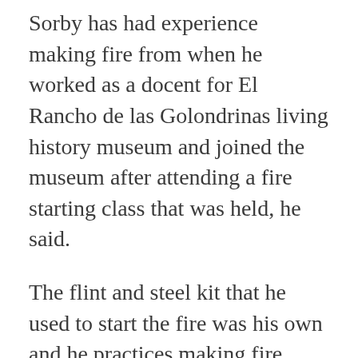Sorby has had experience making fire from when he worked as a docent for El Rancho de las Golondrinas living history museum and joined the museum after attending a fire starting class that was held, he said.
The flint and steel kit that he used to start the fire was his own and he practices making fire often in his own backyard, and has even used the fire to cook things like eggs in cast iron cookware Sorby said.
“It was really fun, I was glad I could make this one, last year I wasn’t able to,” Sorby